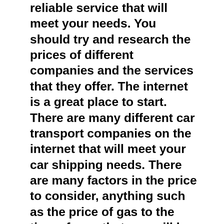reliable service that will meet your needs. You should try and research the prices of different companies and the services that they offer. The internet is a great place to start. There are many different car transport companies on the internet that will meet your car shipping needs. There are many factors in the price to consider, anything such as the price of gas to the time of year that you will be having the car shipped.
The car transport company must know all the details about the car and where it is coming from and going to. They will need to know when you want the car shipped delivered and other information. If a car transporter promises you anything about transporting your car you should get it in writing. Everything that you can tell the car transport company about your expectations of shipping and your vehicle can make the shipping transit go smoother.